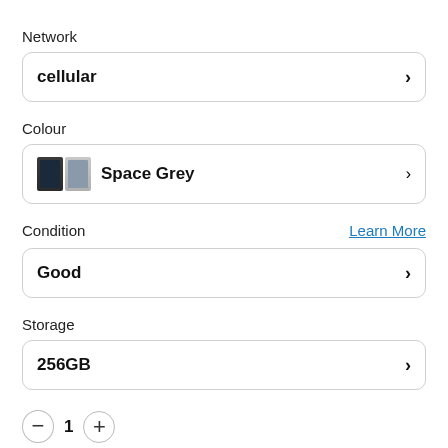Network
cellular
Colour
Space Grey
Condition
Learn More
Good
Storage
256GB
1